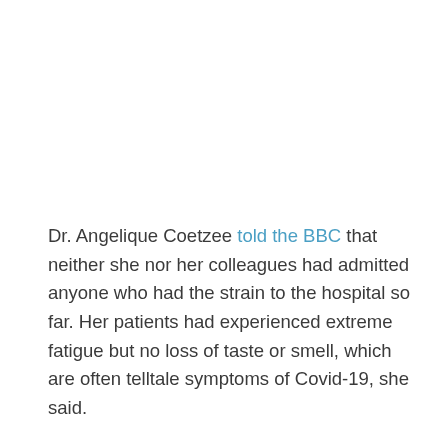Dr. Angelique Coetzee told the BBC that neither she nor her colleagues had admitted anyone who had the strain to the hospital so far. Her patients had experienced extreme fatigue but no loss of taste or smell, which are often telltale symptoms of Covid-19, she said.
The early reports are encouraging, epidemiologists and other experts said.
But they cautioned that there is too little data to draw any